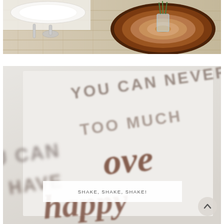[Figure (photo): Close-up of a rustic table setting with silverware, white plates, burlap table runner, and a log slice centerpiece holding green plant stems in a glass vase.]
[Figure (photo): Close-up of a white card or print with hand-lettered text reading 'You can never have too much' with a cursive word partially visible, along with the caption overlay 'SHAKE, SHAKE, SHAKE!']
SHAKE, SHAKE, SHAKE!